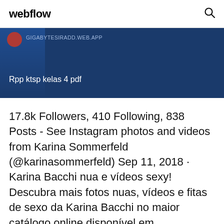webflow
[Figure (screenshot): Dark blue banner with URL text 'GIGABYTESIRADD.WEB.APP' and title 'Rpp ktsp kelas 4 pdf']
17.8k Followers, 410 Following, 838 Posts - See Instagram photos and videos from Karina Sommerfeld (@karinasommerfeld) Sep 11, 2018 · Karina Bacchi nua e vídeos sexy! Descubra mais fotos nuas, vídeos e fitas de sexo da Karina Bacchi no maior catálogo online disponível em